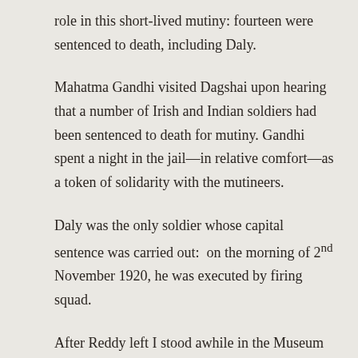role in this short-lived mutiny: fourteen were sentenced to death, including Daly.
Mahatma Gandhi visited Dagshai upon hearing that a number of Irish and Indian soldiers had been sentenced to death for mutiny. Gandhi spent a night in the jail—in relative comfort—as a token of solidarity with the mutineers.
Daly was the only soldier whose capital sentence was carried out: on the morning of 2nd November 1920, he was executed by firing squad.
After Reddy left I stood awhile in the Museum